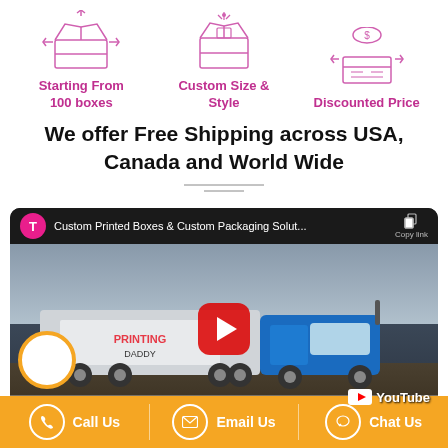[Figure (illustration): Three pink/purple line-art icons of open boxes, representing Starting From 100 boxes, Custom Size & Style, and Discounted Price features]
Starting From
100 boxes
Custom Size &
Style
Discounted Price
We offer Free Shipping across USA, Canada and World Wide
[Figure (screenshot): YouTube video embed thumbnail showing a truck with Printing Daddy branding on a highway, with YouTube play button overlay and video title 'Custom Printed Boxes & Custom Packaging Solut...' with Copy link button]
[Figure (infographic): Orange and white footer bar with Call Us (phone icon), Email Us (envelope icon), Chat Us (chat bubble icon) contact options]